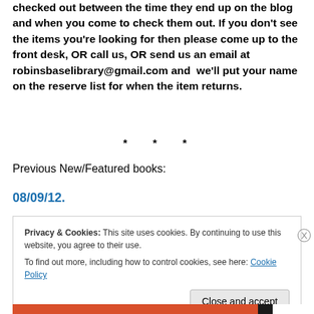checked out between the time they end up on the blog and when you come to check them out. If you don't see the items you're looking for then please come up to the front desk, OR call us, OR send us an email at robinsbaselibrary@gmail.com and  we'll put your name on the reserve list for when the item returns.
* * *
Previous New/Featured books:
08/09/12.
Privacy & Cookies: This site uses cookies. By continuing to use this website, you agree to their use.
To find out more, including how to control cookies, see here: Cookie Policy
Close and accept